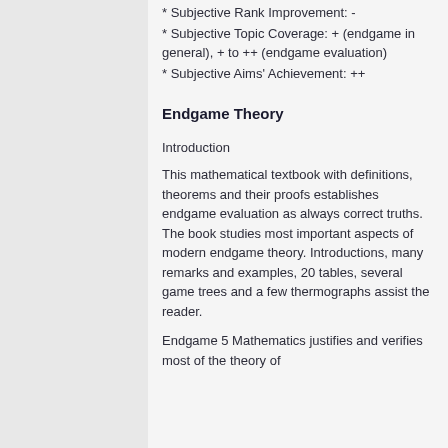* Subjective Rank Improvement: -
* Subjective Topic Coverage: + (endgame in general), + to ++ (endgame evaluation)
* Subjective Aims' Achievement: ++
Endgame Theory
Introduction
This mathematical textbook with definitions, theorems and their proofs establishes endgame evaluation as always correct truths. The book studies most important aspects of modern endgame theory. Introductions, many remarks and examples, 20 tables, several game trees and a few thermographs assist the reader.
Endgame 5 Mathematics justifies and verifies most of the theory of